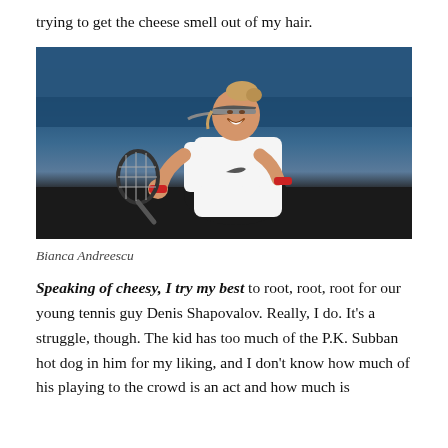trying to get the cheese smell out of my hair.
[Figure (photo): Photo of Bianca Andreescu, a tennis player, celebrating on court wearing a white Nike tank top, gray visor, and red wristbands, holding a tennis racket]
Bianca Andreescu
Speaking of cheesy, I try my best to root, root, root for our young tennis guy Denis Shapovalov. Really, I do. It's a struggle, though. The kid has too much of the P.K. Subban hot dog in him for my liking, and I don't know how much of his playing to the crowd is an act and how much is